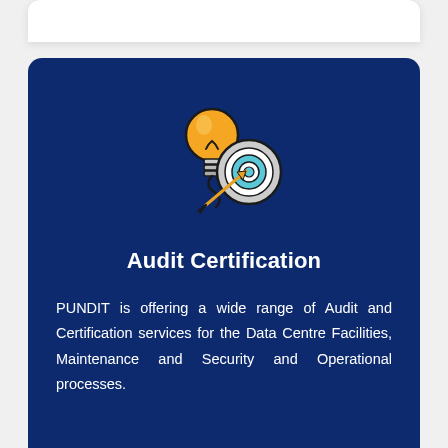[Figure (illustration): Icon showing a light bulb (yellow/gold) combined with a target/bullseye (teal and gray rings) with an arrow hitting the center, on a dark blue background.]
Audit Certification
PUNDIT is offering a wide range of Audit and Certification services for the Data Centre Facilities, Maintenance and Security and Operational processes.